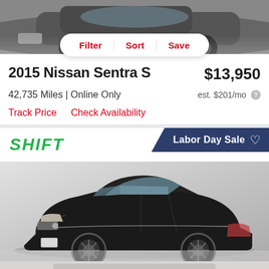[Figure (photo): Top portion of a gray/silver car visible at the top of the page]
Filter | Sort | Save
2015 Nissan Sentra S
$13,950
42,735 Miles | Online Only
est. $201/mo ?
Track Price    Check Availability
[Figure (photo): Shift car dealership listing showing a black Nissan Sentra sedan with SHIFT logo and Labor Day Sale banner]